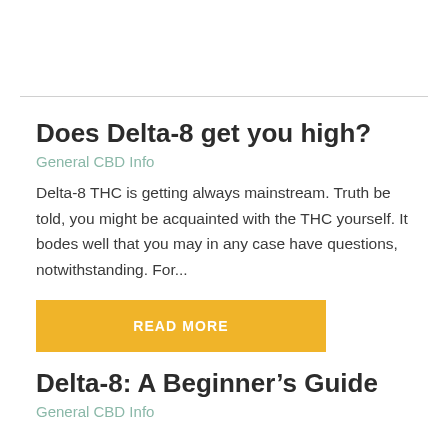Does Delta-8 get you high?
General CBD Info
Delta-8 THC is getting always mainstream. Truth be told, you might be acquainted with the THC yourself. It bodes well that you may in any case have questions, notwithstanding. For...
READ MORE
Delta-8: A Beginner's Guide
General CBD Info